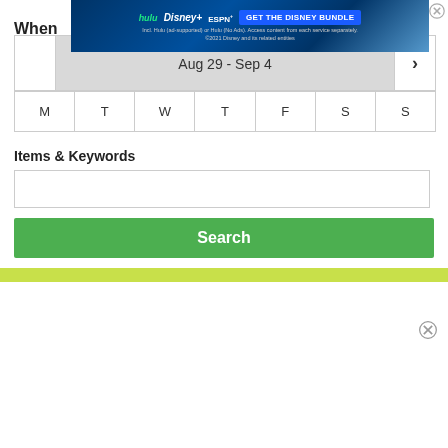When
[Figure (screenshot): Disney Bundle advertisement banner with Hulu, Disney+, ESPN+ logos and 'GET THE DISNEY BUNDLE' button on dark blue background. Fine print: 'Incl. Hulu (ad-supported) or Hulu (No Ads). Access content from each service separately. ©2021 Disney and its related entities']
| Aug 29 - Sep 4 |
| --- |
| M | T | W | T | F | S | S |
Items & Keywords
Search